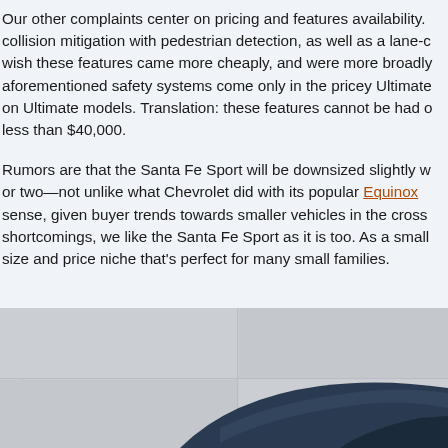Our other complaints center on pricing and features availability. collision mitigation with pedestrian detection, as well as a lane-c wish these features came more cheaply, and were more broadly aforementioned safety systems come only in the pricey Ultimate on Ultimate models. Translation: these features cannot be had o less than $40,000.
Rumors are that the Santa Fe Sport will be downsized slightly w or two—not unlike what Chevrolet did with its popular Equinox sense, given buyer trends towards smaller vehicles in the cross shortcomings, we like the Santa Fe Sport as it is too. As a small size and price niche that's perfect for many small families.
[Figure (photo): Partial view of a vehicle (roof/top portion) against a grey tiled background, showing the dark blue/grey car roof with a white tile wall behind it.]